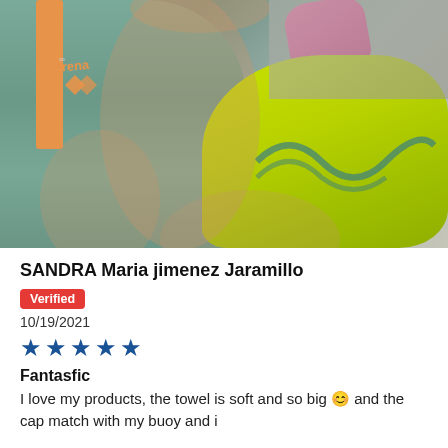[Figure (photo): Woman wearing a teal/sage green Arena swimsuit with orange straps and logo, holding a bright yellow swim buoy/safety bag. A pink item is visible in the background. Photo is cropped showing torso and accessories.]
SANDRA Maria jimenez Jaramillo
Verified
10/19/2021
★★★★★
Fantasfic
I love my products, the towel is soft and so big 😊 and the cap match with my buoy and i